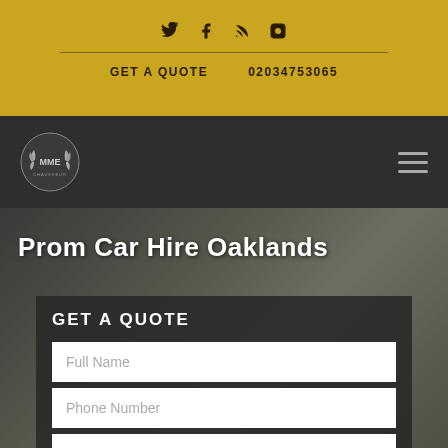Social icons: Twitter, Facebook, RSS, Instagram | GET A QUOTE | 02034753065
[Figure (logo): MME company logo - circular emblem with laurel wreath on dark nav bar]
Prom Car Hire Oaklands
GET A QUOTE
Full Name
Phone Number
Email Address